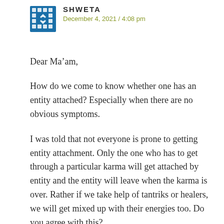SHWETA
December 4, 2021 / 4:08 pm
Dear Ma'am,
How do we come to know whether one has an entity attached? Especially when there are no obvious symptoms.
I was told that not everyone is prone to getting entity attachment. Only the one who has to get through a particular karma will get attached by entity and the entity will leave when the karma is over. Rather if we take help of tantriks or healers, we will get mixed up with their energies too. Do you agree with this?
Is everyday soham mantra chanting